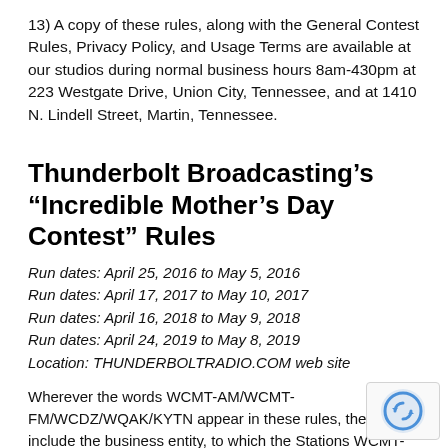13) A copy of these rules, along with the General Contest Rules, Privacy Policy, and Usage Terms are available at our studios during normal business hours 8am-430pm at 223 Westgate Drive, Union City, Tennessee, and at 1410 N. Lindell Street, Martin, Tennessee.
Thunderbolt Broadcasting’s “Incredible Mother’s Day Contest” Rules
Run dates: April 25, 2016 to May 5, 2016
Run dates: April 17, 2017 to May 10, 2017
Run dates: April 16, 2018 to May 9, 2018
Run dates: April 24, 2019 to May 8, 2019
Location: THUNDERBOLTRADIO.COM web site
Wherever the words WCMT-AM/WCMT-FM/WCDZ/WQAK/KYTN appear in these rules, they include the business entity, to which the Stations WCMT-AM, WCMT-FM, WCDZ-FM, WQAK-FM and/or KYTN-FM are licensed, and any member companies, parent corporations,